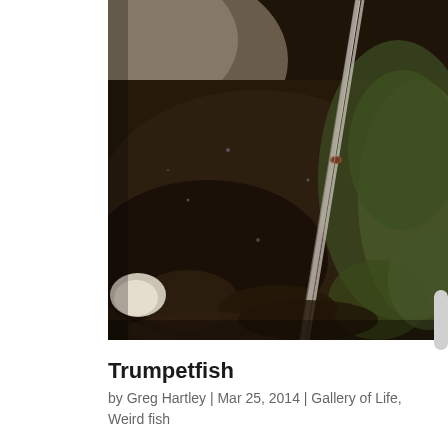[Figure (photo): Close-up underwater photograph of a trumpetfish camouflaged against a dark rocky/coral substrate. The fish's elongated tubular body is barely distinguishable from the surroundings. A thin vertical structure (possibly a rod or coral stem) runs diagonally. The background includes dark brown and green algae-covered rocks.]
Trumpetfish
by Greg Hartley | Mar 25, 2014 | Gallery of Life, Weird fish